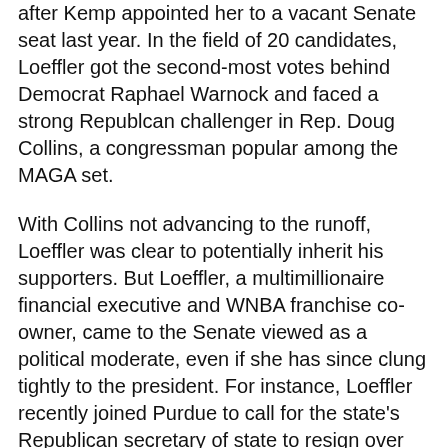after Kemp appointed her to a vacant Senate seat last year. In the field of 20 candidates, Loeffler got the second-most votes behind Democrat Raphael Warnock and faced a strong Republcan challenger in Rep. Doug Collins, a congressman popular among the MAGA set.
With Collins not advancing to the runoff, Loeffler was clear to potentially inherit his supporters. But Loeffler, a multimillionaire financial executive and WNBA franchise co-owner, came to the Senate viewed as a political moderate, even if she has since clung tightly to the president. For instance, Loeffler recently joined Purdue to call for the state's Republican secretary of state to resign over unproven allegations of voter fraud in the Nov. 3 election.
MOST READ
Amy Coney Barrett is pictured. | Getty Images
Major shift at Supreme Court on Covid-19 orders